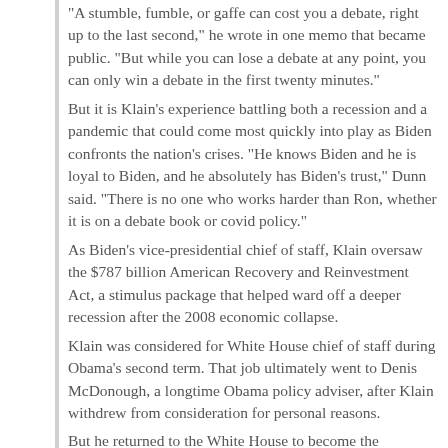“A stumble, fumble, or gaffe can cost you a debate, right up to the last second,” he wrote in one memo that became public. “But while you can lose a debate at any point, you can only win a debate in the first twenty minutes.”
But it is Klain’s experience battling both a recession and a pandemic that could come most quickly into play as Biden confronts the nation’s crises. “He knows Biden and he is loyal to Biden, and he absolutely has Biden’s trust,” Dunn said. “There is no one who works harder than Ron, whether it is on a debate book or covid policy.”
As Biden’s vice-presidential chief of staff, Klain oversaw the $787 billion American Recovery and Reinvestment Act, a stimulus package that helped ward off a deeper recession after the 2008 economic collapse.
Klain was considered for White House chief of staff during Obama’s second term. That job ultimately went to Denis McDonough, a longtime Obama policy adviser, after Klain withdrew from consideration for personal reasons.
But he returned to the White House to become the